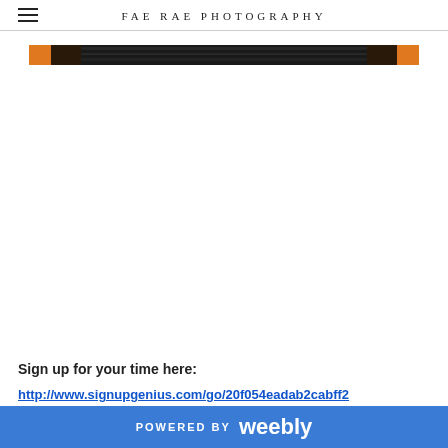FAE RAE PHOTOGRAPHY
[Figure (photo): A narrow horizontal banner image, mostly dark/black with orange accents at the left and right edges, appearing to be a cropped photograph.]
Sign up for your time here:
http://www.signupgenius.com/go/20f054eadab2cabff2
POWERED BY weebly